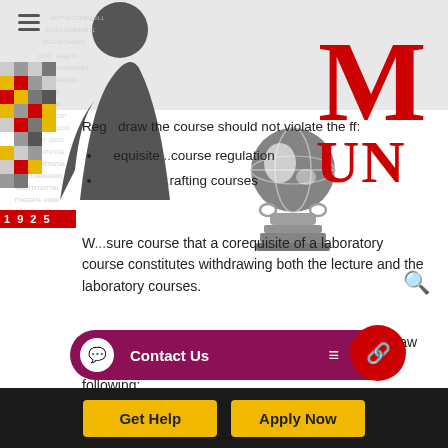[Figure (illustration): University website screenshot with decorative header containing mosaic checkerboard pattern, DNA/binary silhouette figure, globe on column illustration, MUN logo (M in red, U N text), and 1925 badge]
Reg...draw the course should not violate the ff:
...equisite...course regulation
...red l...b...rafting courses
W...sure course that a corequisite of a laboratory course constitutes withdrawing both the lecture and the laboratory courses.
In cases wherein the student fails to officially withdraw a course, the faculty member shall be guided by the following:
The student shall be given...
The student shall be given...
[Figure (screenshot): Contact Us popup bar with purple background, chat icon, Facebook Messenger icon in red circle]
Get Help
Apply Now